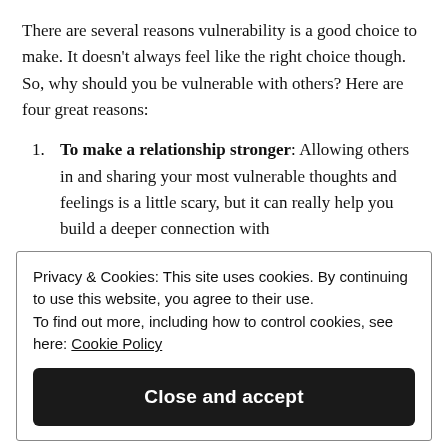There are several reasons vulnerability is a good choice to make. It doesn't always feel like the right choice though. So, why should you be vulnerable with others? Here are four great reasons:
To make a relationship stronger: Allowing others in and sharing your most vulnerable thoughts and feelings is a little scary, but it can really help you build a deeper connection with
Privacy & Cookies: This site uses cookies. By continuing to use this website, you agree to their use.
To find out more, including how to control cookies, see here: Cookie Policy
Close and accept
[Figure (photo): Bottom strip showing top of a person's head/hair, partially visible]